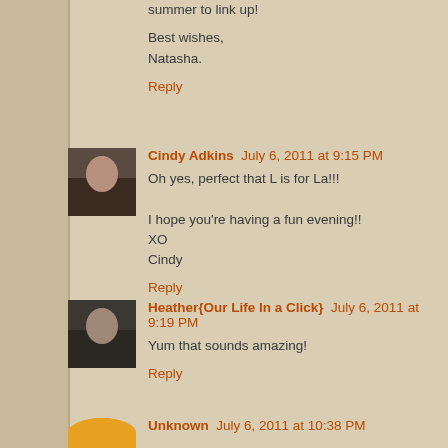summer to link up!

Best wishes,
Natasha.

Reply
Cindy Adkins  July 6, 2011 at 9:15 PM

Oh yes, perfect that L is for La!!!

I hope you're having a fun evening!!
XO
Cindy

Reply
Heather{Our Life In a Click}  July 6, 2011 at 9:19 PM

Yum that sounds amazing!

Reply
Unknown  July 6, 2011 at 10:38 PM